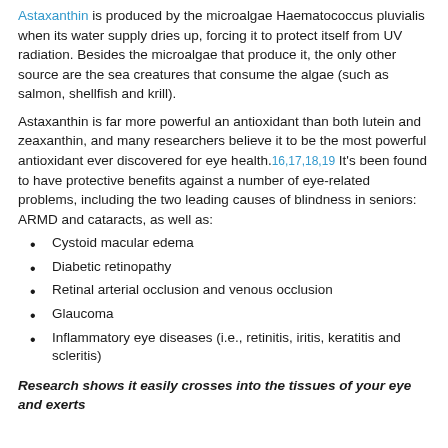Astaxanthin is produced by the microalgae Haematococcus pluvialis when its water supply dries up, forcing it to protect itself from UV radiation. Besides the microalgae that produce it, the only other source are the sea creatures that consume the algae (such as salmon, shellfish and krill).
Astaxanthin is far more powerful an antioxidant than both lutein and zeaxanthin, and many researchers believe it to be the most powerful antioxidant ever discovered for eye health.16,17,18,19 It's been found to have protective benefits against a number of eye-related problems, including the two leading causes of blindness in seniors: ARMD and cataracts, as well as:
Cystoid macular edema
Diabetic retinopathy
Retinal arterial occlusion and venous occlusion
Glaucoma
Inflammatory eye diseases (i.e., retinitis, iritis, keratitis and scleritis)
Research shows it easily crosses into the tissues of your eye and exerts